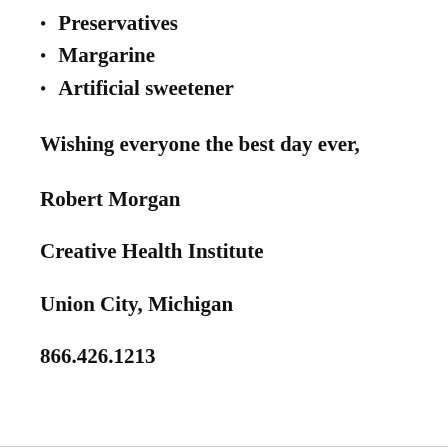Preservatives
Margarine
Artificial sweetener
Wishing everyone the best day ever,
Robert Morgan
Creative Health Institute
Union City, Michigan
866.426.1213